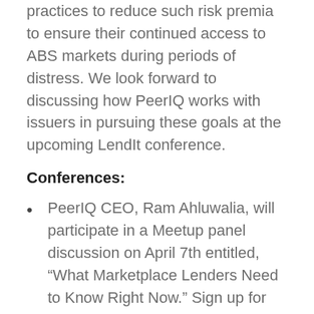practices to reduce such risk premia to ensure their continued access to ABS markets during periods of distress. We look forward to discussing how PeerIQ works with issuers in pursuing these goals at the upcoming LendIt conference.
Conferences:
PeerIQ CEO, Ram Ahluwalia, will participate in a Meetup panel discussion on April 7th entitled, “What Marketplace Lenders Need to Know Right Now.” Sign up for the event here!
PeerIQ will be at LendIt in San